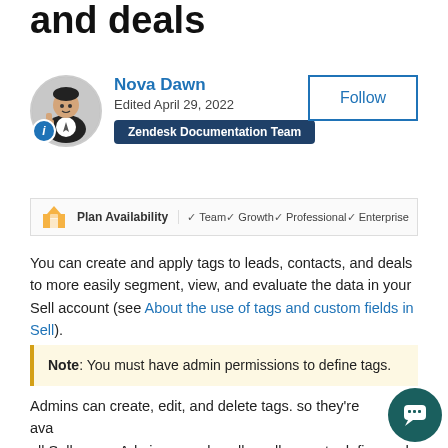and deals
Nova Dawn
Edited April 29, 2022
Zendesk Documentation Team
| Plan Availability | Team | Growth | Professional | Enterprise |
| --- | --- | --- | --- | --- |
You can create and apply tags to leads, contacts, and deals to more easily segment, view, and evaluate the data in your Sell account (see About the use of tags and custom fields in Sell).
Note: You must have admin permissions to define tags.
Admins can create, edit, and delete tags. so they're available to all Sell users. Admins can also allow all users to define and apply their own tags to their own leads, contacts, and deals (see